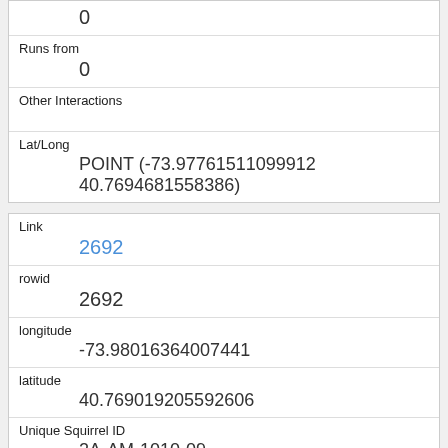| 0 |
| Runs from | 0 |
| Other Interactions |  |
| Lat/Long | POINT (-73.97761511099912 40.7694681558386) |
| Link | 2692 |
| rowid | 2692 |
| longitude | -73.98016364007441 |
| latitude | 40.769019205592606 |
| Unique Squirrel ID | 2A-AM-1010-09 |
| Hectare | 02A |
| Shift |  |